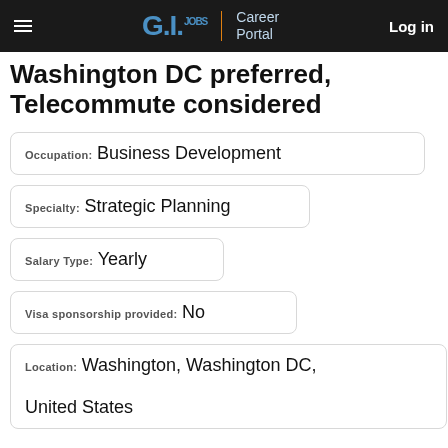G.I. JOBS | Career Portal  Log in
Washington DC preferred, Telecommute considered
Occupation: Business Development
Specialty: Strategic Planning
Salary Type: Yearly
Visa sponsorship provided: No
Location: Washington, Washington DC, United States